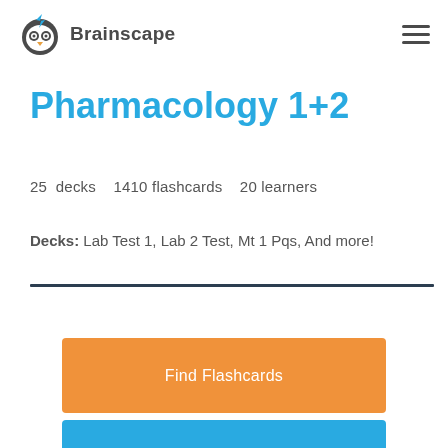Brainscape
Pharmacology 1+2
25 decks   1410 flashcards   20 learners
Decks: Lab Test 1, Lab 2 Test, Mt 1 Pqs, And more!
[Figure (other): Find Flashcards orange button]
[Figure (other): Make Flashcards blue button (partially visible)]